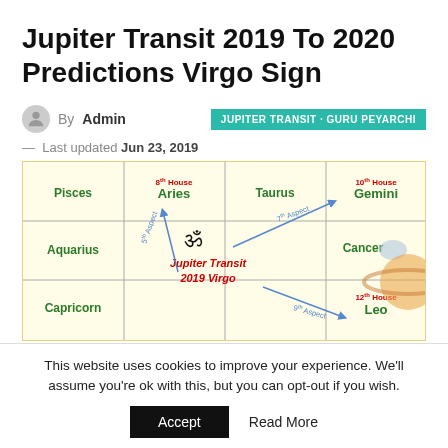Jupiter Transit 2019 To 2020 Predictions Virgo Sign
By Admin
JUPITER TRANSIT · GURU PEYARCHI
— Last updated Jun 23, 2019
[Figure (infographic): Astrological chart showing Jupiter Transit 2019 Virgo with zodiac signs: Pisces, Aries (8th House), Taurus, Gemini (10th House), Aquarius, Cancer, Capricorn, Leo (12th House). Center shows Om symbol with Jupiter Transit 2019 Virgo text. Arrows show 5th Aspect, 7th Aspect, and 9th Aspect lines.]
This website uses cookies to improve your experience. We'll assume you're ok with this, but you can opt-out if you wish.
Accept
Read More